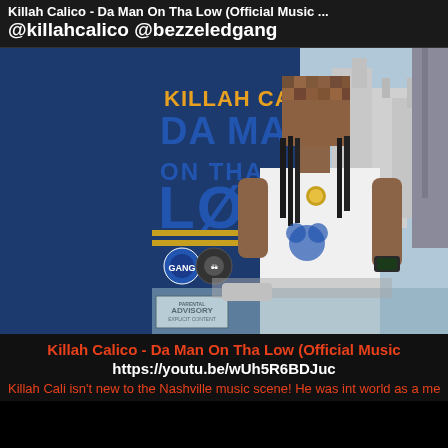Killah Calico - Da Man On Tha Low (Official Music ... @killahcalico @bezzeledgang
[Figure (photo): Album cover for Killah Calico - Da Man On Tha Low. Shows artist in white t-shirt with pixelated face, standing on a rooftop with Nashville skyline. Text reads KILLAH CALICO DA MAN ON THA LOW in blue and gold lettering. Parental Advisory sticker bottom left. Dark blue panel on left side of image.]
Killah Calico - Da Man On Tha Low (Official Music
https://youtu.be/wUh5R6BDJuc
Killah Cali isn't new to the Nashville music scene! He was int world as a member of Tha Bezzeled Gang, a group of hil